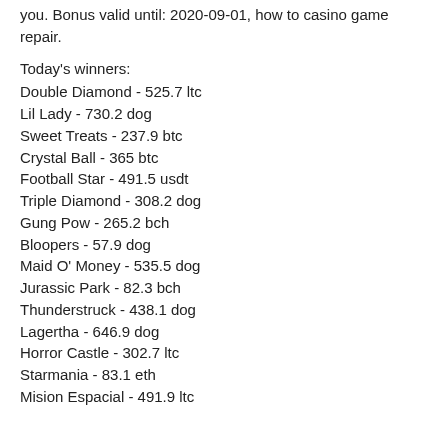you. Bonus valid until: 2020-09-01, how to casino game repair.
Today's winners:
Double Diamond - 525.7 ltc
Lil Lady - 730.2 dog
Sweet Treats - 237.9 btc
Crystal Ball - 365 btc
Football Star - 491.5 usdt
Triple Diamond - 308.2 dog
Gung Pow - 265.2 bch
Bloopers - 57.9 dog
Maid O' Money - 535.5 dog
Jurassic Park - 82.3 bch
Thunderstruck - 438.1 dog
Lagertha - 646.9 dog
Horror Castle - 302.7 ltc
Starmania - 83.1 eth
Mision Espacial - 491.9 ltc